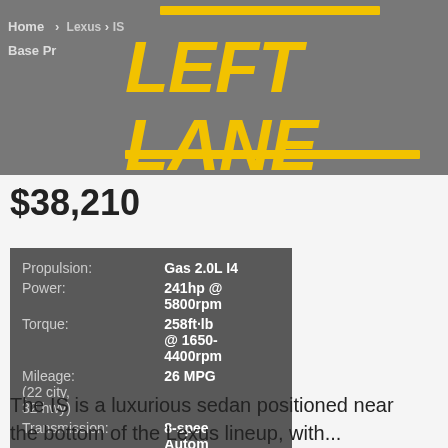Home | Lexus | IS
Base Price
[Figure (logo): Left Lane automotive website logo — bold yellow/gold stylized text reading LEFT LANE on grey background]
$38,210
| Attribute | Value |
| --- | --- |
| Propulsion: | Gas 2.0L I4 |
| Power: | 241hp @ 5800rpm |
| Torque: | 258ft·lb @ 1650-4400rpm |
| Mileage: | 26 MPG (22 city, 32 hwy) |
| Transmission: | 8-speed Automatic |
| Seating: | 5 seats |
The IS is a luxurious sedan positioned near the bottom of the Lexus lineup, with...